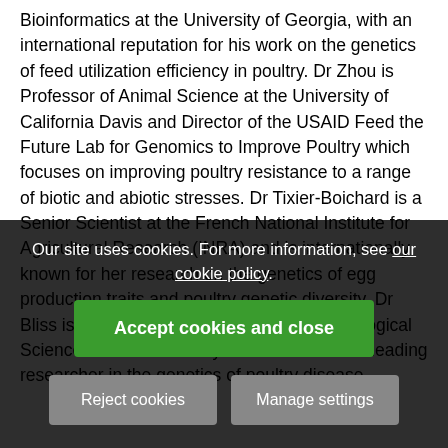Bioinformatics at the University of Georgia, with an international reputation for his work on the genetics of feed utilization efficiency in poultry. Dr Zhou is Professor of Animal Science at the University of California Davis and Director of the USAID Feed the Future Lab for Genomics to Improve Poultry which focuses on improving poultry resistance to a range of biotic and abiotic stresses. Dr Tixier-Boichard is a Senior Scientist at the French National Institute for Agricultural Research (INRA) and is internationally known for her research on the genetics of egg production traits and poultry genetic diversity. Dr Bliss is a Professor in the Department of Biological Sciences at the University of Arkansas and a leading researcher in the genetics of poultry disease.
[Figure (screenshot): Cookie consent overlay banner with dark semi-transparent background, showing cookie policy message with links, a green 'Accept cookies and close' button, and two gray buttons: 'Reject cookies' and 'Manage settings'.]